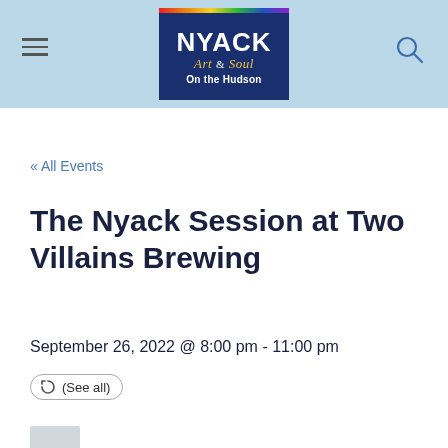[Figure (logo): Nyack Art & Soul On the Hudson website logo on navy blue background with rainbow stripe at top, inside light blue header bar with hamburger menu on left and search icon on right]
« All Events
The Nyack Session at Two Villains Brewing
September 26, 2022 @ 8:00 pm - 11:00 pm
(See all)